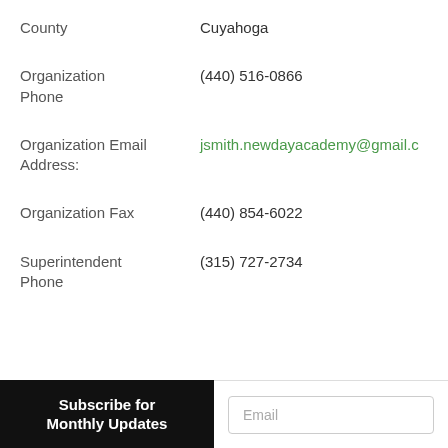County    Cuyahoga
Organization Phone    (440) 516-0866
Organization Email Address:    jsmith.newdayacademy@gmail.c
Organization Fax    (440) 854-6022
Superintendent Phone    (315) 727-2734
Subscribe for Monthly Updates
Email